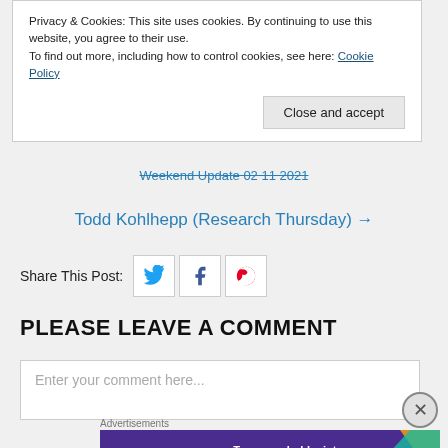Privacy & Cookies: This site uses cookies. By continuing to use this website, you agree to their use. To find out more, including how to control cookies, see here: Cookie Policy
Close and accept
Weekend Update 02 11 2021
Todd Kohlhepp (Research Thursday) →
Share This Post:
PLEASE LEAVE A COMMENT
Enter your comment here...
Advertisements
[Figure (illustration): WooCommerce advertisement banner: 'Turn your hobby into a business in 8 steps']